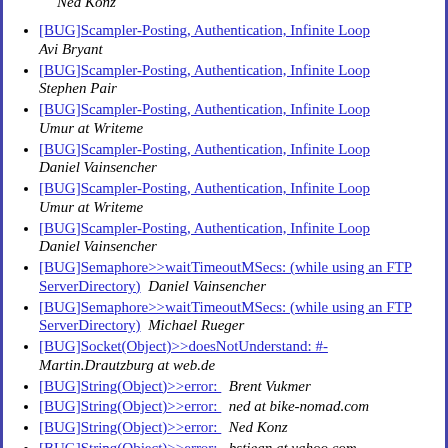Ned Konz
[BUG]Scampler-Posting, Authentication, Infinite Loop  Avi Bryant
[BUG]Scampler-Posting, Authentication, Infinite Loop  Stephen Pair
[BUG]Scampler-Posting, Authentication, Infinite Loop  Umur at Writeme
[BUG]Scampler-Posting, Authentication, Infinite Loop  Daniel Vainsencher
[BUG]Scampler-Posting, Authentication, Infinite Loop  Umur at Writeme
[BUG]Scampler-Posting, Authentication, Infinite Loop  Daniel Vainsencher
[BUG]Semaphore>>waitTimeoutMSecs: (while using an FTP ServerDirectory)  Daniel Vainsencher
[BUG]Semaphore>>waitTimeoutMSecs: (while using an FTP ServerDirectory)  Michael Rueger
[BUG]Socket(Object)>>doesNotUnderstand: #-  Martin.Drautzburg at web.de
[BUG]String(Object)>>error:  Brent Vukmer
[BUG]String(Object)>>error:  ned at bike-nomad.com
[BUG]String(Object)>>error:  Ned Konz
[BUG]String(Object)>>error:  bstjean at yahoo.com
[BUG]String(Object)>>error:  Ned Konz
[BUG]String(Object)>>error:  Daniel Vainsencher